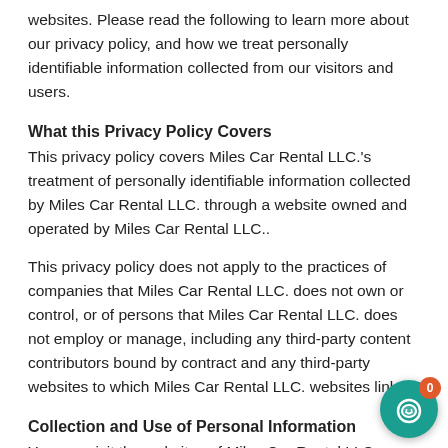websites. Please read the following to learn more about our privacy policy, and how we treat personally identifiable information collected from our visitors and users.
What this Privacy Policy Covers
This privacy policy covers Miles Car Rental LLC.'s treatment of personally identifiable information collected by Miles Car Rental LLC. through a website owned and operated by Miles Car Rental LLC..
This privacy policy does not apply to the practices of companies that Miles Car Rental LLC. does not own or control, or of persons that Miles Car Rental LLC. does not employ or manage, including any third-party content contributors bound by contract and any third-party websites to which Miles Car Rental LLC. websites link.
Collection and Use of Personal Information
You can visit the websites of Miles Car Rental LLC. without revealing any personal information. However, Miles Car Rental LLC. needs certain personal information if you wish to purchase our products, register for an affiliate account, receive Miles Car Rental LLC. newsletter, or use certain Miles Car Rental LLC.